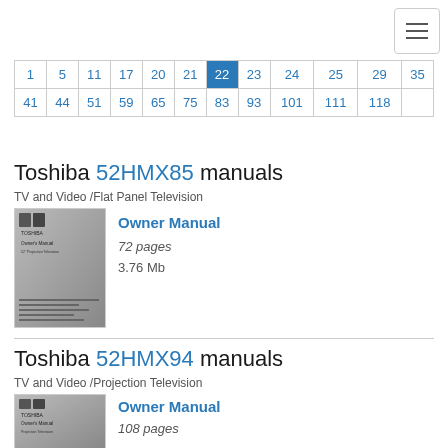[Figure (other): Hamburger menu button (three horizontal lines) in top-right corner]
| 1 | 5 | 11 | 17 | 20 | 21 | 22 | 23 | 24 | 25 | 29 | 35 |
| 41 | 44 | 51 | 59 | 65 | 75 | 83 | 93 | 101 | 111 | 118 |  |
Toshiba 52HMX85 manuals
TV and Video /Flat Panel Television
[Figure (illustration): Thumbnail image of the Toshiba 52HMX85 Owner Manual cover]
Owner Manual
72 pages
3.76 Mb
Toshiba 52HMX94 manuals
TV and Video /Projection Television
[Figure (illustration): Thumbnail image of the Toshiba 52HMX94 Owner Manual cover]
Owner Manual
108 pages